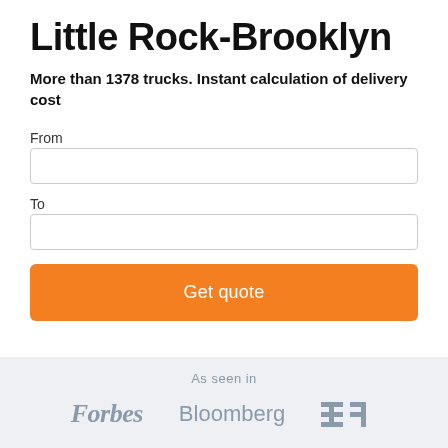Little Rock-Brooklyn
More than 1378 trucks. Instant calculation of delivery cost
From
To
[Figure (other): Orange 'Get quote' button]
As seen in
[Figure (logo): Forbes, Bloomberg, TechCrunch logos in gray]